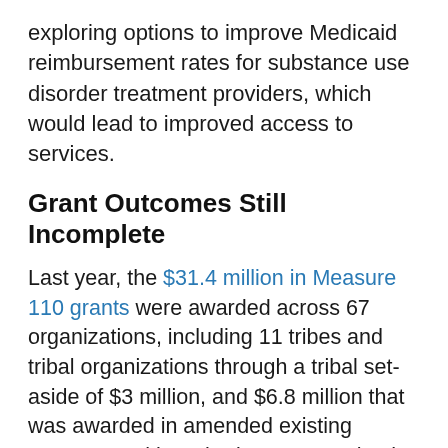exploring options to improve Medicaid reimbursement rates for substance use disorder treatment providers, which would lead to improved access to services.
Grant Outcomes Still Incomplete
Last year, the $31.4 million in Measure 110 grants were awarded across 67 organizations, including 11 tribes and tribal organizations through a tribal set-aside of $3 million, and $6.8 million that was awarded in amended existing Oregon Health Authority contracts by the agency. Portland's tri-county area received the bulk of the grants.
According to preliminary data from Oregon